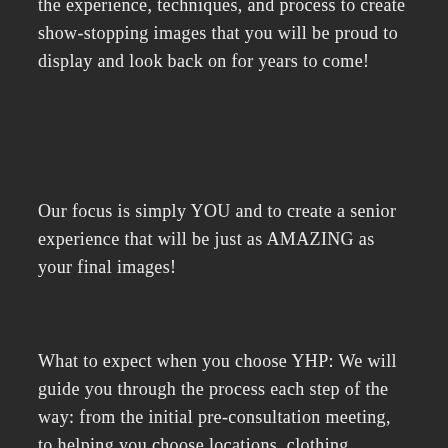the experience, techniques, and process to create show-stopping images that you will be proud to display and look back on for years to come!
Our focus is simply YOU and to create a senior experience that will be just as AMAZING as your final images!
What to expect when you choose YHP: We will guide you through the process each step of the way: from the initial pre-consultation meeting, to helping you choose locations, clothing styles/colors, and accessories. Our get-to-know-you approach allows us to tailor your session to you. During the session, you can expect a relaxed environment that will allow the true you to shine through. We have